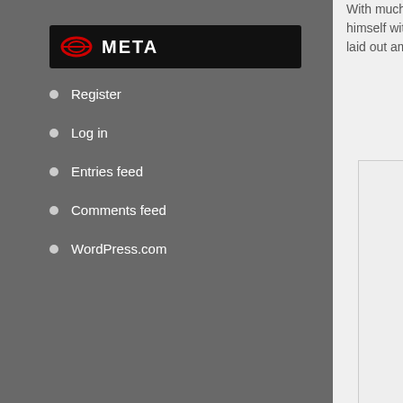META
Register
Log in
Entries feed
Comments feed
WordPress.com
With much prepara… himself with the Coop… laid out amidst a hors…